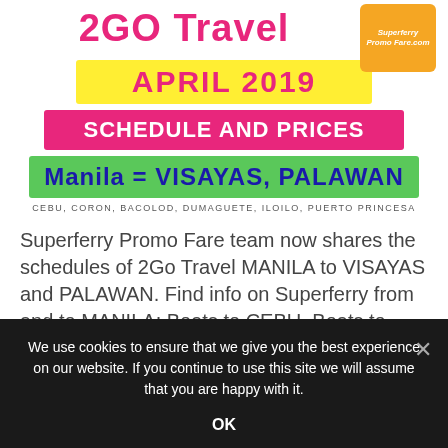2GO Travel
APRIL 2019
SCHEDULE AND PRICES
Manila = VISAYAS, PALAWAN
CEBU, CORON, BACOLOD, DUMAGUETE, ILOILO, PUERTO PRINCESA
Superferry Promo Fare team now shares the schedules of 2Go Travel MANILA to VISAYAS and PALAWAN. Find info on Superferry from and to MANILA: Boats to CEBU  Boats to DUMAGUETE  Boats to CORON Boats to
We use cookies to ensure that we give you the best experience on our website. If you continue to use this site we will assume that you are happy with it.
OK